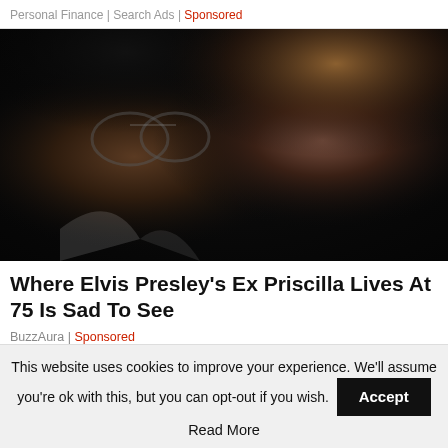Personal Finance | Search Ads | Sponsored
[Figure (photo): Black and white/color vintage photo of a man with large tinted glasses and dark hair (resembling Elvis Presley) beside a woman with long wavy blonde hair, both seated in a car interior with dark background.]
Where Elvis Presley's Ex Priscilla Lives At 75 Is Sad To See
BuzzAura | Sponsored
This website uses cookies to improve your experience. We'll assume you're ok with this, but you can opt-out if you wish.
Accept
Read More